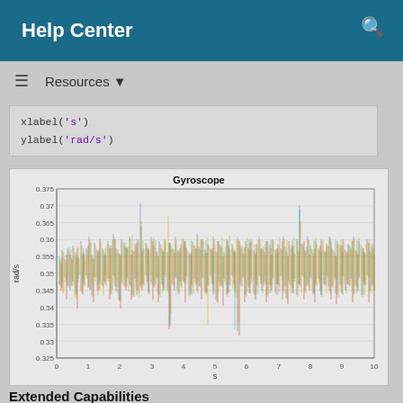Help Center
Resources ▼
xlabel('s')
ylabel('rad/s')
[Figure (continuous-plot): Dense oscillating waveform plot labeled 'Gyroscope' with y-axis from 0.325 to 0.375 rad/s and x-axis from 0 to 10 s. Multiple overlapping colored time-series lines (blue, orange, yellow, red) showing noisy gyroscope data.]
Extended Capabilities